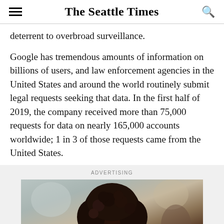The Seattle Times
deterrent to overbroad surveillance.
Google has tremendous amounts of information on billions of users, and law enforcement agencies in the United States and around the world routinely submit legal requests seeking that data. In the first half of 2019, the company received more than 75,000 requests for data on nearly 165,000 accounts worldwide; 1 in 3 of those requests came from the United States.
ADVERTISING
[Figure (photo): Advertisement photo showing a person with dark curly hair]